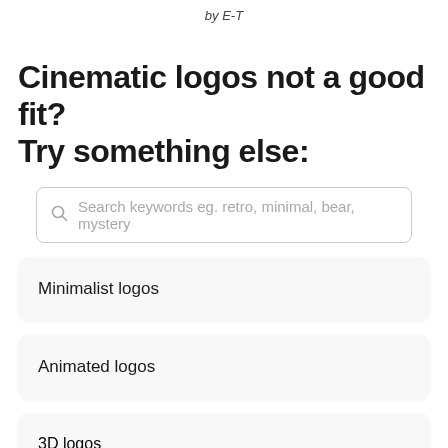by E-T
Cinematic logos not a good fit? Try something else:
Search keywords eg. retro, minimal, bear, mystery
Minimalist logos
Animated logos
3D logos